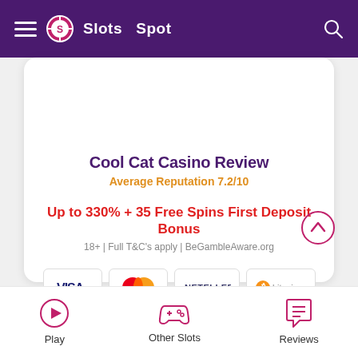Slots Spot
Cool Cat Casino Review
Average Reputation 7.2/10
Up to 330% + 35 Free Spins First Deposit Bonus
18+ | Full T&C's apply | BeGambleAware.org
[Figure (other): Payment method icons: VISA, Mastercard, NETELLER, Bitcoin]
Visit
Play  Other Slots  Reviews